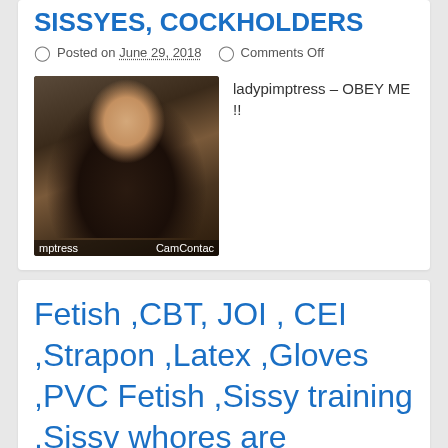SISSYES, COCKHOLDERS
Posted on June 29, 2018   Comments Off
[Figure (photo): Thumbnail photo of a blonde woman wearing dark clothing, watermarked with 'mptress' and 'CamContact']
ladypimptress – OBEY ME !!
Fetish ,CBT, JOI , CEI ,Strapon ,Latex ,Gloves ,PVC Fetish ,Sissy training ,Sissy whores are